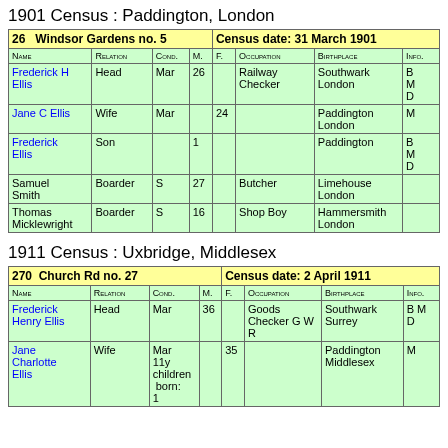1901 Census : Paddington, London
| Name | Relation | Cond. | M. | F. | Occupation | Birthplace | Info. |
| --- | --- | --- | --- | --- | --- | --- | --- |
| Frederick H Ellis | Head | Mar | 26 |  | Railway Checker | Southwark London | B M D |
| Jane C Ellis | Wife | Mar |  | 24 |  | Paddington London | M |
| Frederick Ellis | Son |  | 1 |  |  | Paddington | B M D |
| Samuel Smith | Boarder | S | 27 |  | Butcher | Limehouse London |  |
| Thomas Micklewright | Boarder | S | 16 |  | Shop Boy | Hammersmith London |  |
1911 Census : Uxbridge, Middlesex
| Name | Relation | Cond. | M. | F. | Occupation | Birthplace | Info. |
| --- | --- | --- | --- | --- | --- | --- | --- |
| Frederick Henry Ellis | Head | Mar | 36 |  | Goods Checker G W R | Southwark Surrey | B M D |
| Jane Charlotte Ellis | Wife | Mar 11y children born: 1 |  | 35 |  | Paddington Middlesex | M |